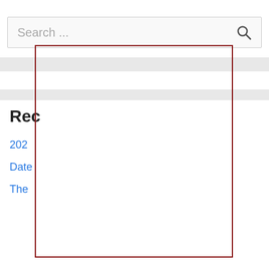[Figure (screenshot): Search box with placeholder text 'Search ...' and a search icon on the right]
Rec
202
Date
The